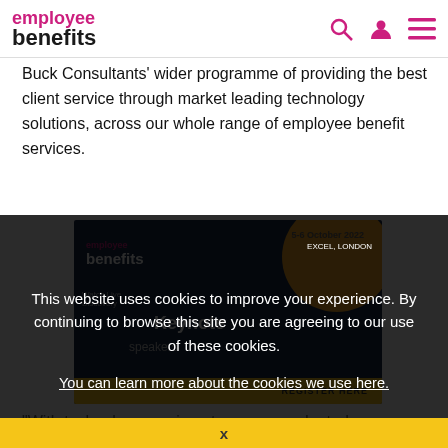employee benefits
Buck Consultants' wider programme of providing the best client service through market leading technology solutions, across our whole range of employee benefit services.
[Figure (screenshot): Employee Benefits event banner for 5-6 October 2022 at ExCeL London, showing keynote speakers section and Register Here button]
This website uses cookies to improve your experience. By continuing to browse this site you are agreeing to our use of these cookies.
You can learn more about the cookies we use here.
“With technology moving at an unprecedented pace, we